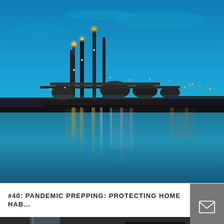[Figure (photo): Industrial oil refinery or chemical plant at night reflected on calm water, with illuminated towers and structures against a blue twilight sky.]
#40: PANDEMIC PREPPING: PROTECTING HOME HAB…
[Figure (photo): Partial view of an interior space with glass and dark furniture, bottom of page.]